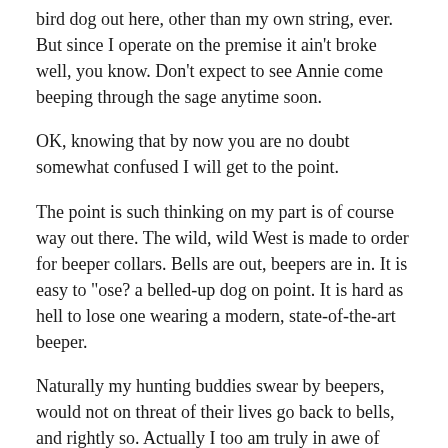bird dog out here, other than my own string, ever. But since I operate on the premise it ain't broke well, you know. Don't expect to see Annie come beeping through the sage anytime soon.
OK, knowing that by now you are no doubt somewhat confused I will get to the point.
The point is such thinking on my part is of course way out there. The wild, wild West is made to order for beeper collars. Bells are out, beepers are in. It is easy to "ose? a belled-up dog on point. It is hard as hell to lose one wearing a modern, state-of-the-art beeper.
Naturally my hunting buddies swear by beepers, would not on threat of their lives go back to bells, and rightly so. Actually I too am truly in awe of how far beeper collars have evolved over the years. I did a little survey yesterday which sort of proved what I already...